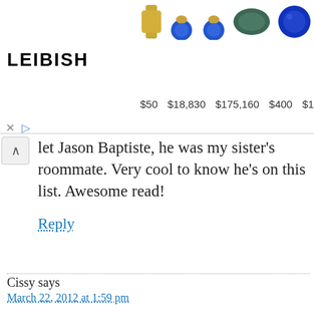[Figure (screenshot): LEIBISH jewelry advertisement banner showing gemstone images (yellow diamond rough, blue sapphire earrings pair, blue sapphire earrings, green oval gemstone, blue round sapphire, diamond ring with yellow center stone) with prices: $50, $18,830, $175,160, $400, $101,918, $361. Contains LEIBISH logo, X close button and play button controls.]
let Jason Baptiste, he was my sister's roommate. Very cool to know he's on this list. Awesome read!
Reply
Cissy says
March 22, 2012 at 1:59 pm
Have you read this one? It totally changed my life–to be a happy one!